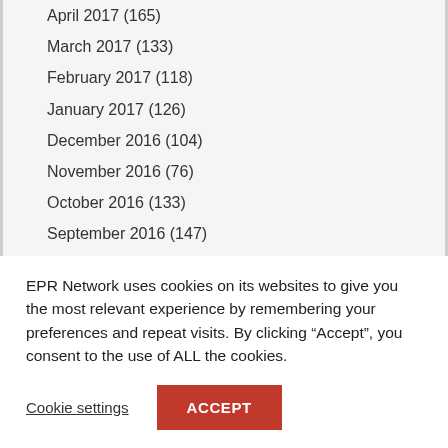April 2017 (165)
March 2017 (133)
February 2017 (118)
January 2017 (126)
December 2016 (104)
November 2016 (76)
October 2016 (133)
September 2016 (147)
August 2016 (97)
July 2016 (116)
June 2016 (171)
May 2016 (193)
EPR Network uses cookies on its websites to give you the most relevant experience by remembering your preferences and repeat visits. By clicking “Accept”, you consent to the use of ALL the cookies.
Cookie settings
ACCEPT